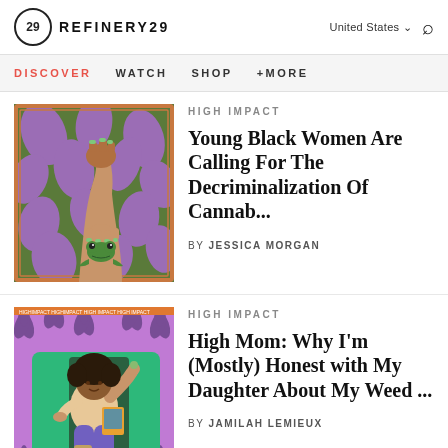REFINERY29 — United States — Search
DISCOVER   WATCH   SHOP   +MORE
[Figure (illustration): Illustration of a raised Black fist holding a small frog with green nails, against a purple and dark green swirling pattern background with a decorative border]
HIGH IMPACT
Young Black Women Are Calling For The Decriminalization Of Cannab...
by JESSICA MORGAN
[Figure (illustration): Illustration of a Black woman lying on a green mat surrounded by cannabis leaf patterns on a purple background, with household items nearby]
HIGH IMPACT
High Mom: Why I'm (Mostly) Honest with My Daughter About My Weed ...
by JAMILAH LEMIEUX